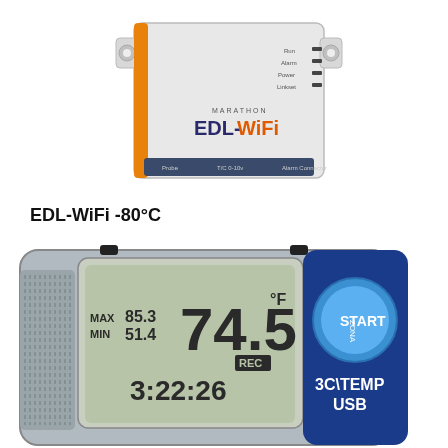[Figure (photo): Photo of MARATHON EDL-WiFi data logger device, a white rectangular box with orange stripe on left side, LED indicators on top right labeled Run, Alarm, Power, Linkset, and connectors on bottom labeled Probe, T/C 0-10V, Alarm Connector]
EDL-WiFi -80°C
[Figure (photo): Photo of 3C\TEMP USB temperature data logger device showing LCD display with temperature reading 74.5°F, MAX 85.3, MIN 51.4, REC indicator, time 3:22:26, with START button and 3C\TEMP USB branding on blue and white housing]